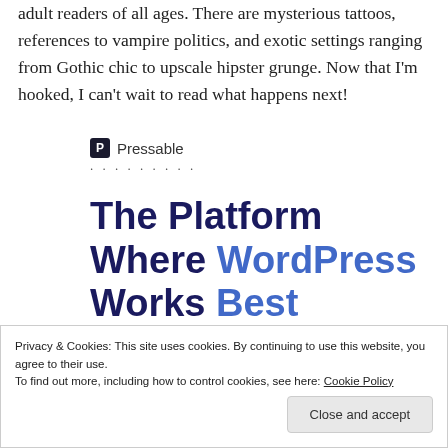adult readers of all ages. There are mysterious tattoos, references to vampire politics, and exotic settings ranging from Gothic chic to upscale hipster grunge. Now that I'm hooked, I can't wait to read what happens next!
[Figure (logo): Pressable logo with P icon and dotted separator]
The Platform Where WordPress Works Best
Privacy & Cookies: This site uses cookies. By continuing to use this website, you agree to their use.
To find out more, including how to control cookies, see here: Cookie Policy
Close and accept